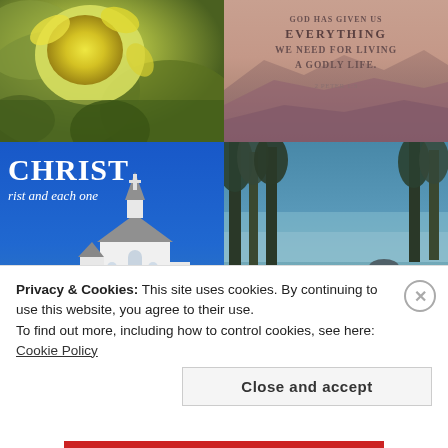[Figure (photo): Close-up photo of yellow flowers and green leaves with soft bokeh background]
[Figure (photo): Scripture verse image with pink/mauve sunset mountains background. Text reads: GOD HAS GIVEN US EVERYTHING WE NEED FOR LIVING A GODLY LIFE. 2 PETER 1:3]
[Figure (photo): White church building against bright blue sky with overlaid text: CHRIST / rist and each one]
[Figure (photo): Coastal forest scene with trees in foreground and blue ocean/lake in background]
Privacy & Cookies: This site uses cookies. By continuing to use this website, you agree to their use.
To find out more, including how to control cookies, see here: Cookie Policy
Close and accept